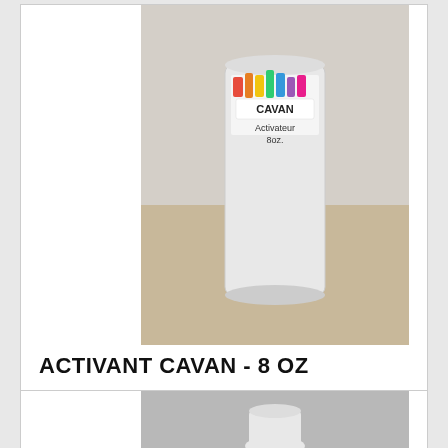[Figure (photo): A frosted white cylindrical bottle/container with the CAVAN brand logo on it, showing colorful paint-splash graphics above the label text 'CAVAN Activateur 8oz.' Placed on a light wooden surface.]
ACTIVANT CAVAN - 8 OZ
802
ACTIVANT CAVAN - 8 OZ
12,95$
[Figure (photo): Partial view of another product at the bottom of the page, showing a white bottle or container on a grey background.]